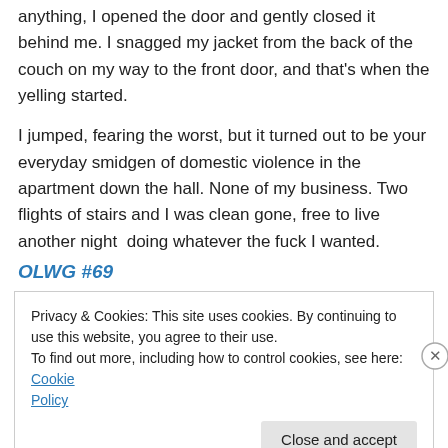anything, I opened the door and gently closed it behind me. I snagged my jacket from the back of the couch on my way to the front door, and that's when the yelling started.
I jumped, fearing the worst, but it turned out to be your everyday smidgen of domestic violence in the apartment down the hall. None of my business. Two flights of stairs and I was clean gone, free to live another night doing whatever the fuck I wanted.
OLWG #69
Privacy & Cookies: This site uses cookies. By continuing to use this website, you agree to their use.
To find out more, including how to control cookies, see here: Cookie Policy
Close and accept